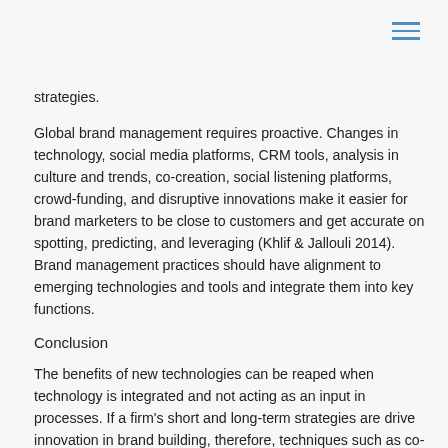strategies.
Global brand management requires proactive. Changes in technology, social media platforms, CRM tools, analysis in culture and trends, co-creation, social listening platforms, crowd-funding, and disruptive innovations make it easier for brand marketers to be close to customers and get accurate on spotting, predicting, and leveraging (Khlif & Jallouli 2014). Brand management practices should have alignment to emerging technologies and tools and integrate them into key functions.
Conclusion
The benefits of new technologies can be reaped when technology is integrated and not acting as an input in processes. If a firm's short and long-term strategies are drive innovation in brand building, therefore, techniques such as co-creation need to be integrated in brand management practices from the start (Woodcock et al., 2011). Brands become international through efficiency in implementation and brand building. Globalizing brands is a complex cycle and demands regular adaptability and scalability. Management of global brands must improve adaptability, innovation, and growth. They